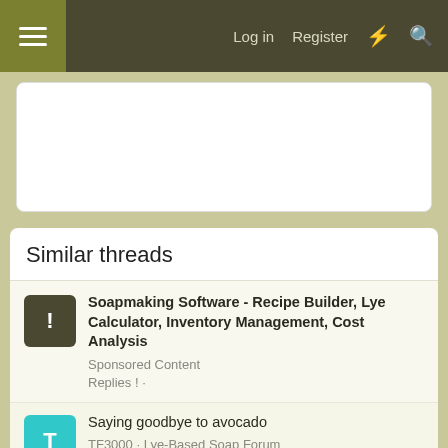Log in  Register
[Figure (other): White advertisement box placeholder]
Similar threads
Soapmaking Software - Recipe Builder, Lye Calculator, Inventory Management, Cost Analysis
Sponsored Content
Replies !
Saying goodbye to avocado
TF3000 · Lye-Based Soap Forum
Replies 15 · Apr 6, 2022